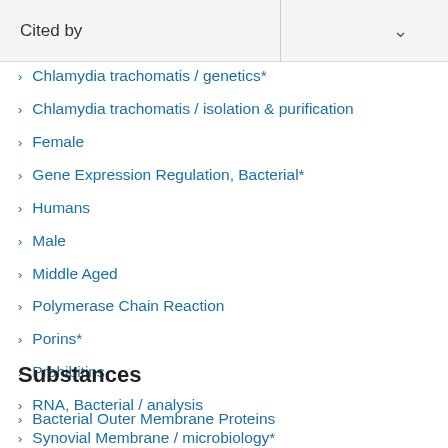Cited by
Chlamydia trachomatis / genetics*
Chlamydia trachomatis / isolation & purification
Female
Gene Expression Regulation, Bacterial*
Humans
Male
Middle Aged
Polymerase Chain Reaction
Porins*
Prohibitins
RNA, Bacterial / analysis
Synovial Membrane / microbiology*
Transcription, Genetic
Substances
Bacterial Outer Membrane Proteins